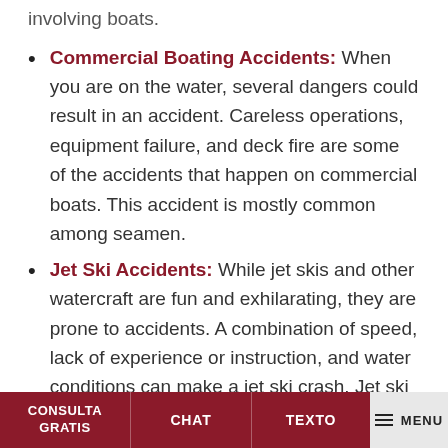involving boats.
Commercial Boating Accidents: When you are on the water, several dangers could result in an accident. Careless operations, equipment failure, and deck fire are some of the accidents that happen on commercial boats. This accident is mostly common among seamen.
Jet Ski Accidents: While jet skis and other watercraft are fun and exhilarating, they are prone to accidents. A combination of speed, lack of experience or instruction, and water conditions can make a jet ski crash. Jet ski operators involved in crashes are prone to serious injuries or fatalities.
CONSULTA GRATIS   CHAT   TEXTO   MENU